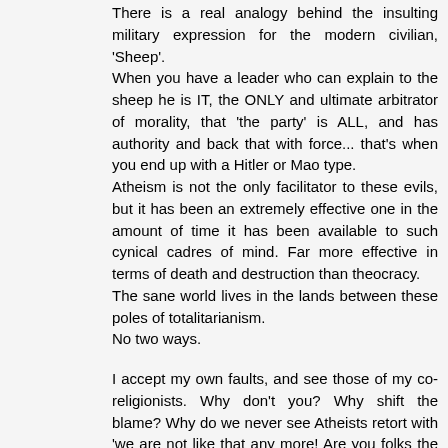There is a real analogy behind the insulting military expression for the modern civilian, 'Sheep'. When you have a leader who can explain to the sheep he is IT, the ONLY and ultimate arbitrator of morality, that 'the party' is ALL, and has authority and back that with force... that's when you end up with a Hitler or Mao type. Atheism is not the only facilitator to these evils, but it has been an extremely effective one in the amount of time it has been available to such cynical cadres of mind. Far more effective in terms of death and destruction than theocracy. The sane world lives in the lands between these poles of totalitarianism. No two ways.
I accept my own faults, and see those of my co-religionists. Why don't you? Why shift the blame? Why do we never see Atheists retort with 'we are not like that any more! Are you folks the same as the people who danced at "auto de fe"? Well neither are we Stalin or Hitler."